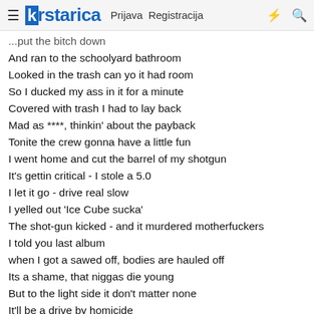≡ krstarica  Prijava  Registracija  ⚡  🔍
...put the bitch down
And ran to the schoolyard bathroom
Looked in the trash can yo it had room
So I ducked my ass in it for a minute
Covered with trash I had to lay back
Mad as ****, thinkin' about the payback
Tonite the crew gonna have a little fun
I went home and cut the barrel of my shotgun
It's gettin critical - I stole a 5.0
I let it go - drive real slow
I yelled out 'Ice Cube sucka'
The shot-gun kicked - and it murdered motherfuckers
I told you last album
when I got a sawed off, bodies are hauled off
Its a shame, that niggas die young
But to the light side it don't matter none
It'll be a drive by homicide
But to me its just another tale from the darkside...